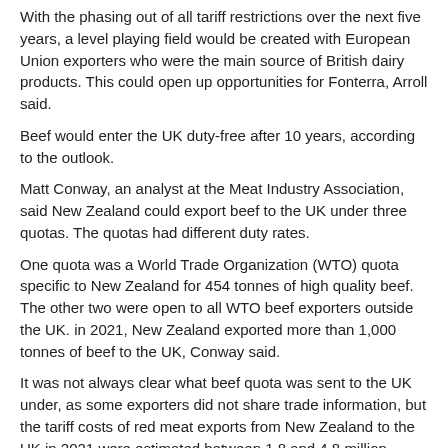With the phasing out of all tariff restrictions over the next five years, a level playing field would be created with European Union exporters who were the main source of British dairy products. This could open up opportunities for Fonterra, Arroll said.
Beef would enter the UK duty-free after 10 years, according to the outlook.
Matt Conway, an analyst at the Meat Industry Association, said New Zealand could export beef to the UK under three quotas. The quotas had different duty rates.
One quota was a World Trade Organization (WTO) quota specific to New Zealand for 454 tonnes of high quality beef. The other two were open to all WTO beef exporters outside the UK. in 2021, New Zealand exported more than 1,000 tonnes of beef to the UK, Conway said.
It was not always clear what beef quota was sent to the UK under, as some exporters did not share trade information, but the tariff costs of red meat exports from New Zealand to the UK in 2021 were estimated between 1.8 and 4.8 million dollars per year.